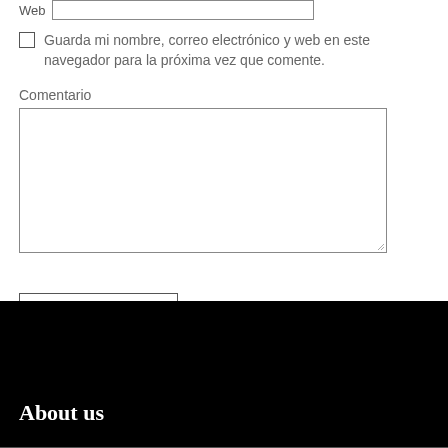Web [input field]
Guarda mi nombre, correo electrónico y web en este navegador para la próxima vez que comente.
Comentario
Publicar el comentario
About us